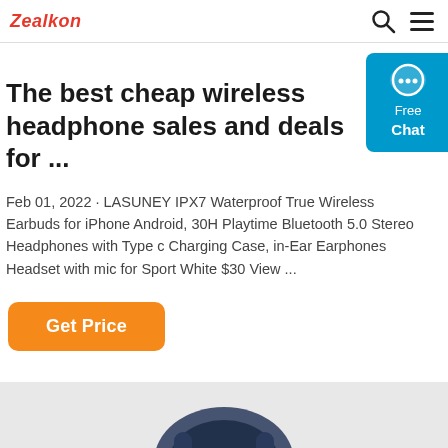Zealkon
The best cheap wireless headphone sales and deals for ...
Feb 01, 2022 · LASUNEY IPX7 Waterproof True Wireless Earbuds for iPhone Android, 30H Playtime Bluetooth 5.0 Stereo Headphones with Type c Charging Case, in-Ear Earphones Headset with mic for Sport White $30 View ...
Get Price
[Figure (photo): Partial view of a dark-colored headphone at the bottom of the page]